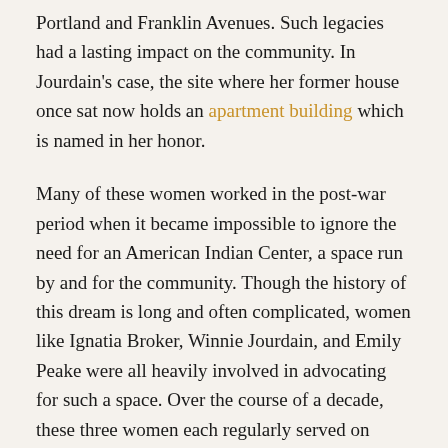Portland and Franklin Avenues. Such legacies had a lasting impact on the community. In Jourdain's case, the site where her former house once sat now holds an apartment building which is named in her honor.
Many of these women worked in the post-war period when it became impossible to ignore the need for an American Indian Center, a space run by and for the community. Though the history of this dream is long and often complicated, women like Ignatia Broker, Winnie Jourdain, and Emily Peake were all heavily involved in advocating for such a space. Over the course of a decade, these three women each regularly served on committees advocating for an Indian Center and wrote grants for funding. They even publicly shamed Minneapolis's city council for not following up on its promises to support an American Indian Center when the city continued to drag its feet approving the use of a lot at the T-junction of Franklin and Bloomington Avenues in Phillips neighborhood. The oft-repeated story told by community today involves an elderly Jourdain who stood up at a 1972 council